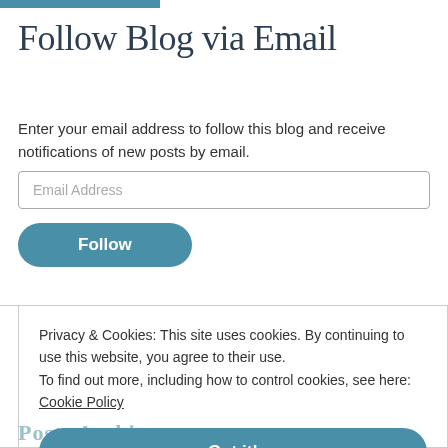Follow Blog via Email
Enter your email address to follow this blog and receive notifications of new posts by email.
Email Address
Follow
Privacy & Cookies: This site uses cookies. By continuing to use this website, you agree to their use.
To find out more, including how to control cookies, see here:
Cookie Policy
Got it!
Posts Archive